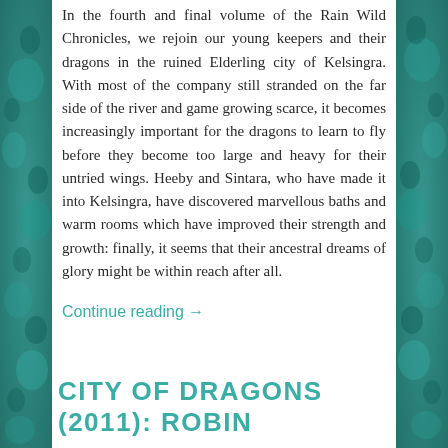In the fourth and final volume of the Rain Wild Chronicles, we rejoin our young keepers and their dragons in the ruined Elderling city of Kelsingra. With most of the company still stranded on the far side of the river and game growing scarce, it becomes increasingly important for the dragons to learn to fly before they become too large and heavy for their untried wings. Heeby and Sintara, who have made it into Kelsingra, have discovered marvellous baths and warm rooms which have improved their strength and growth: finally, it seems that their ancestral dreams of glory might be within reach after all.
Continue reading →
CITY OF DRAGONS (2011): ROBIN